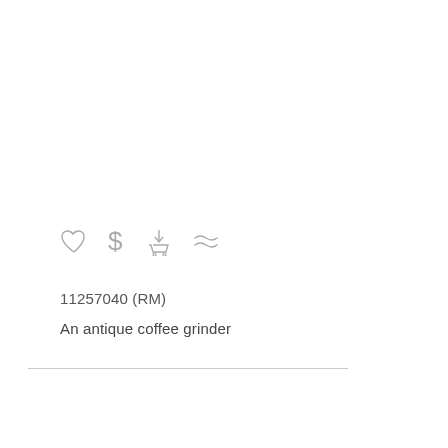[Figure (other): Row of four gray icons: heart (wishlist), dollar sign (price/buy), shopping cart with download arrow, and approximately-equal/similar sign]
11257040 (RM)
An antique coffee grinder